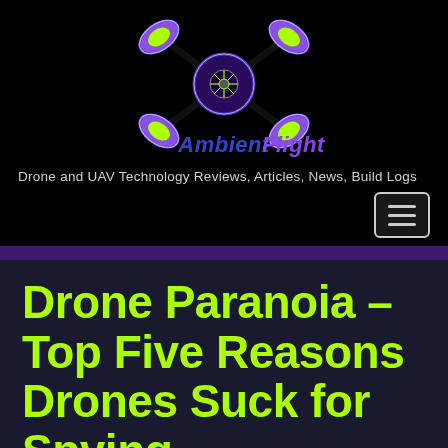[Figure (logo): AmbientFlight drone logo with four green propeller nodes connected by black arms to a central purple circle with camera iris icon, and 'AmbientFlight' text below in blue/purple italic font]
Drone and UAV Technology Reviews, Articles, News, Build Logs
Drone Paranoia – Top Five Reasons Drones Suck for Spying